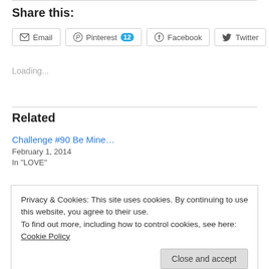Share this:
Email  Pinterest 12  Facebook  Twitter
Loading...
Related
Challenge #90 Be Mine…
February 1, 2014
In "LOVE"
Privacy & Cookies: This site uses cookies. By continuing to use this website, you agree to their use.
To find out more, including how to control cookies, see here: Cookie Policy
Close and accept
In "Easter"